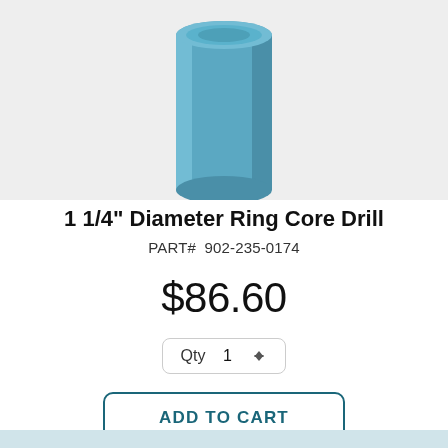[Figure (photo): Product photo of a 1 1/4 inch diameter ring core drill bit, cylindrical shape with flat top, blue/teal color, shown on a light gray background]
1 1/4" Diameter Ring Core Drill
PART#  902-235-0174
$86.60
Qty  1
ADD TO CART